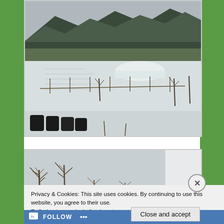[Figure (photo): Aerial/elevated view of a snowy farm with fields covered in snow, fences, bare trees, a white greenhouse or polytunnel structure, and mountains/hills in the background under overcast grey sky. Black barrels or containers visible in the foreground.]
[Figure (photo): Partial view of bare winter trees against a grey/white overcast sky, with a white building or structure visible on the right edge.]
Privacy & Cookies: This site uses cookies. By continuing to use this website, you agree to their use.
To find out more, including how to control cookies, see here: Cookie Policy
Close and accept
FOLLOW